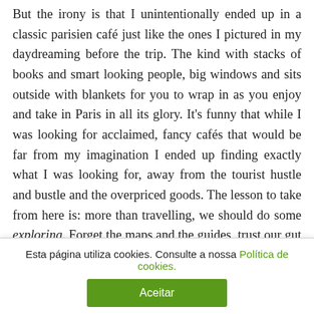But the irony is that I unintentionally ended up in a classic parisien café just like the ones I pictured in my daydreaming before the trip. The kind with stacks of books and smart looking people, big windows and sits outside with blankets for you to wrap in as you enjoy and take in Paris in all its glory. It's funny that while I was looking for acclaimed, fancy cafés that would be far from my imagination I ended up finding exactly what I was looking for, away from the tourist hustle and bustle and the overpriced goods. The lesson to take from here is: more than travelling, we should do some exploring. Forget the maps and the guides, trust our gut and just be in those places,
Esta página utiliza cookies. Consulte a nossa Política de cookies.
Aceitar